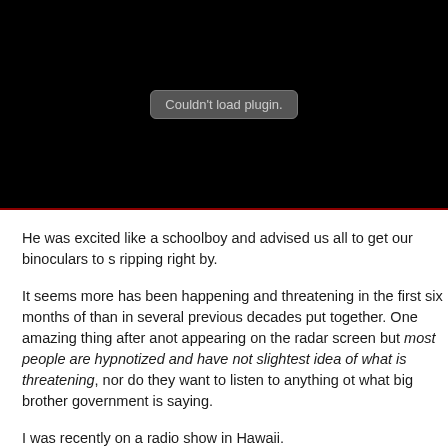[Figure (screenshot): Black plugin area with 'Couldn't load plugin.' error message button centered on black background, with dark red bottom border]
He was excited like a schoolboy and advised us all to get our binoculars to s ripping right by.
It seems more has been happening and threatening in the first six months of than in several previous decades put together. One amazing thing after anot appearing on the radar screen but most people are hypnotized and have not slightest idea of what is threatening, nor do they want to listen to anything ot what big brother government is saying.
I was recently on a radio show in Hawaii.